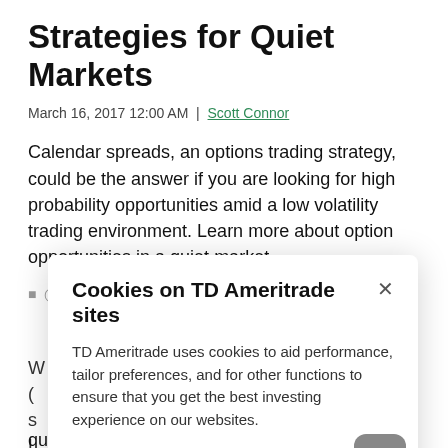Strategies for Quiet Markets
March 16, 2017 12:00 AM  |  Scott Connor
Calendar spreads, an options trading strategy, could be the answer if you are looking for high probability opportunities amid a low volatility trading environment. Learn more about option opportunities in a quiet market.
4 min read  |  Advanced Options Strategies
[Figure (screenshot): Cookie consent modal dialog from TD Ameritrade website. Title: 'Cookies on TD Ameritrade sites'. Body text: 'TD Ameritrade uses cookies to aid performance, tailor preferences, and for other functions to ensure that you get the best investing experience on our websites.' Footer link: 'Adjust cookie settings'. Close button (×) in top right. Scroll-to-top button (up arrow) at bottom right.]
quickly and live for about a week.